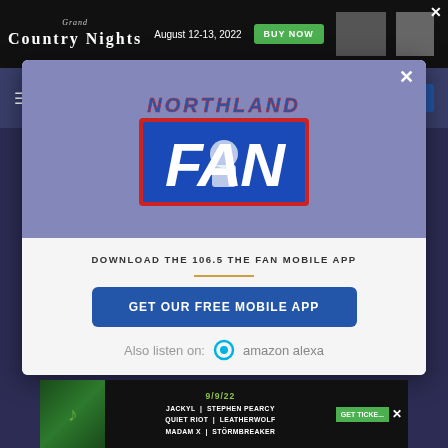[Figure (screenshot): Website background with dark purple/navy color]
[Figure (logo): Grand Country Nights advertisement banner with August 12-13, 2022 date and BUY NOW button]
[Figure (logo): Northland FAN radio station logo - blue and red with person silhouette]
DOWNLOAD THE 106.5 THE FAN MOBILE APP
GET OUR FREE MOBILE APP
Also listen on: amazon alexa
[Figure (infographic): Concert advertisement: JACKYL | STEPHEN PEARCY, QUIET RIOT | LEATHERWOLF, MADAM X | STÖRMBREAKER on 9/9/22 with GET TICKETS button]